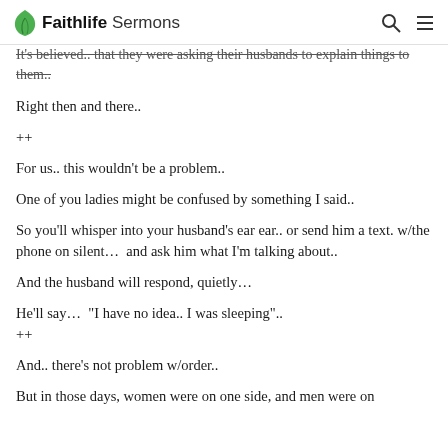Faithlife Sermons
It's believed.. that they were asking their husbands to explain things to them..
Right then and there..
++
For us.. this wouldn't be a problem..
One of you ladies might be confused by something I said..
So you'll whisper into your husband's ear ear.. or send him a text. w/the phone on silent…  and ask him what I'm talking about..
And the husband will respond, quietly…
He'll say…  "I have no idea.. I was sleeping"..
++
And.. there's not problem w/order..
But in those days, women were on one side, and men were on